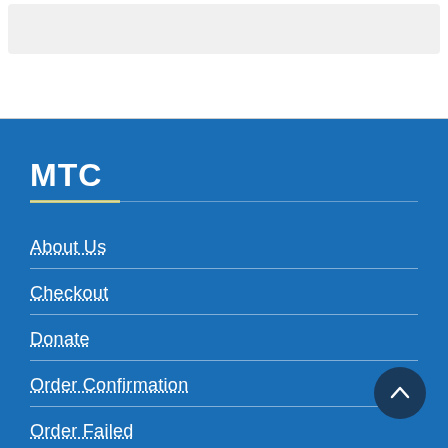MTC
About Us
Checkout
Donate
Order Confirmation
Order Failed
Privacy Policy